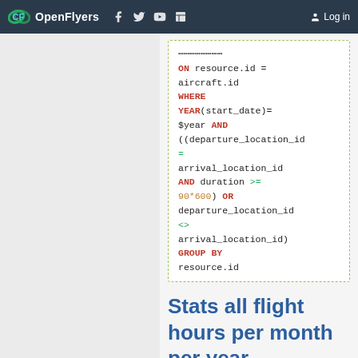OpenFlyers | Log in
[Figure (screenshot): SQL code block showing: ON resource.id = aircraft.id WHERE YEAR(start_date)= $year AND ((departure_location_id = arrival_location_id AND duration >= 90*600) OR departure_location_id <> arrival_location_id) GROUP BY resource.id]
Stats all flight hours per month per year
[Figure (screenshot): SQL code block (partial) showing: SELECT YEAR(start_date) AS]